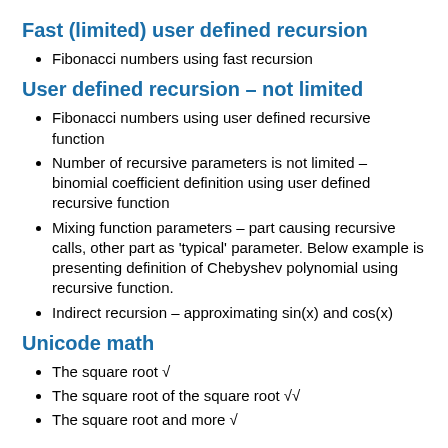Fast (limited) user defined recursion
Fibonacci numbers using fast recursion
User defined recursion – not limited
Fibonacci numbers using user defined recursive function
Number of recursive parameters is not limited – binomial coefficient definition using user defined recursive function
Mixing function parameters – part causing recursive calls, other part as 'typical' parameter. Below example is presenting definition of Chebyshev polynomial using recursive function.
Indirect recursion – approximating sin(x) and cos(x)
Unicode math
The square root √
The square root of the square root √√
The square root and more (partial, cut off)